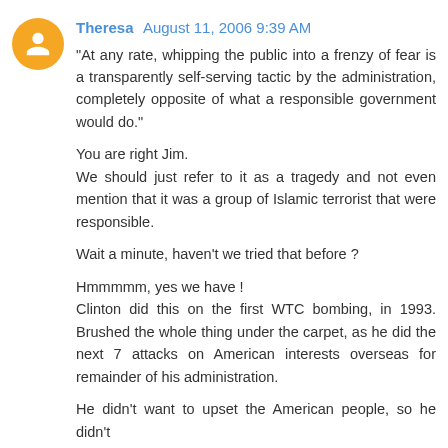Theresa August 11, 2006 9:39 AM
"At any rate, whipping the public into a frenzy of fear is a transparently self-serving tactic by the administration, completely opposite of what a responsible government would do."

You are right Jim.
We should just refer to it as a tragedy and not even mention that it was a group of Islamic terrorist that were responsible.

Wait a minute, haven't we tried that before ?

Hmmmmm, yes we have !
Clinton did this on the first WTC bombing, in 1993. Brushed the whole thing under the carpet, as he did the next 7 attacks on American interests overseas for remainder of his administration.

He didn't want to upset the American people, so he didn't